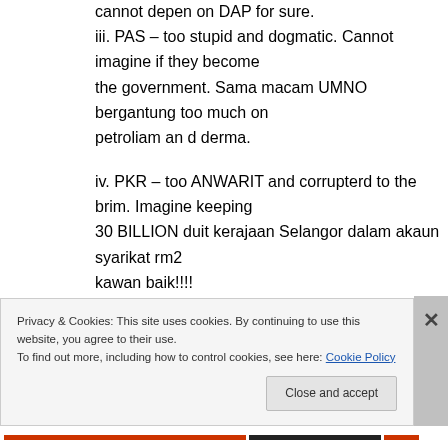iii. PAS – too stupid and dogmatic. Cannot imagine if they become the government. Sama macam UMNO bergantung too much on petroliam an d derma.
iv. PKR – too ANWARIT and corrupterd to the brim. Imagine keeping 30 BILLION duit kerajaan Selangor dalam akaun syarikat rm2 kawan baik!!!!
Privacy & Cookies: This site uses cookies. By continuing to use this website, you agree to their use.
To find out more, including how to control cookies, see here: Cookie Policy
Close and accept